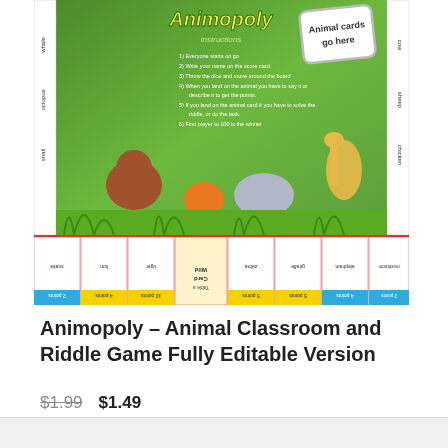[Figure (illustration): Animopoly board game product image showing a jungle-themed monopoly-style game with animal characters, instructions panel, animal cards section, side labels with animal names (whale, octopus, snail, cow, sheep, chicken), and a bottom strip showing game board cells with animal illustrations rotated 180 degrees, point values labeled in yellow and blue bars.]
Animopoly – Animal Classroom and Riddle Game Fully Editable Version
$1.99 $1.49